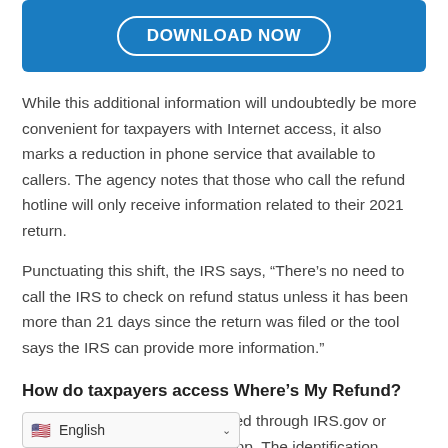[Figure (other): Blue banner with a 'DOWNLOAD NOW' button in white rounded rectangle outline]
While this additional information will undoubtedly be more convenient for taxpayers with Internet access, it also marks a reduction in phone service that available to callers. The agency notes that those who call the refund hotline will only receive information related to their 2021 return.
Punctuating this shift, the IRS says, “There’s no need to call the IRS to check on refund status unless it has been more than 21 days since the return was filed or the tool says the IRS can provide more information.”
How do taxpayers access Where’s My Refund?
Where’s My Refund? is accessed through IRS.gov or
bile app. The identification
[Figure (other): Language selector widget showing US flag and 'English' with a dropdown chevron]